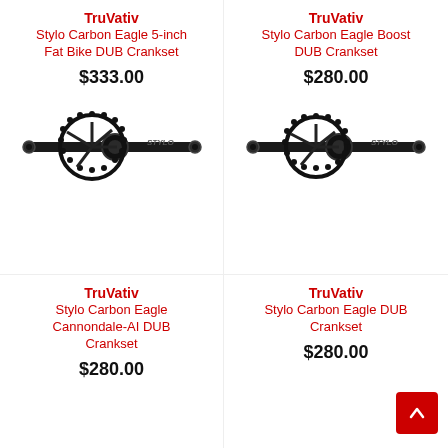TruVativ Stylo Carbon Eagle 5-inch Fat Bike DUB Crankset
$333.00
[Figure (photo): TruVativ Stylo Carbon Eagle crankset with chainring, black finish, side view]
TruVativ Stylo Carbon Eagle Boost DUB Crankset
$280.00
[Figure (photo): TruVativ Stylo Carbon Eagle Boost crankset with chainring, black finish, side view]
TruVativ Stylo Carbon Eagle Cannondale-AI DUB Crankset
$280.00
TruVativ Stylo Carbon Eagle DUB Crankset
$280.00